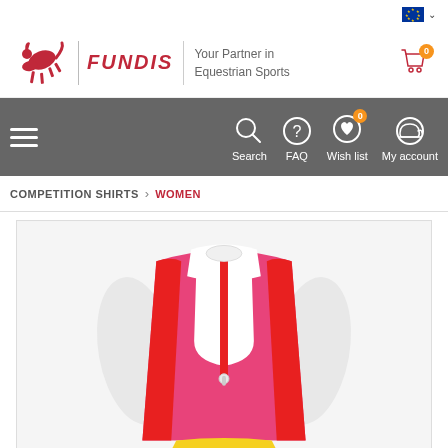[Figure (logo): EU flag icon with dropdown chevron in top right corner]
[Figure (logo): FUNDIS equestrian sports logo with jumping horse silhouette in red, tagline 'Your Partner in Equestrian Sports', and shopping cart icon with orange badge showing 0]
[Figure (screenshot): Gray navigation bar with hamburger menu, Search, FAQ, Wish list (badge 0), and My account icons]
COMPETITION SHIRTS > WOMEN
[Figure (photo): Product photo of a red and pink women's equestrian competition shirt/vest on a mannequin, with white collar and zipper detail, on white background]